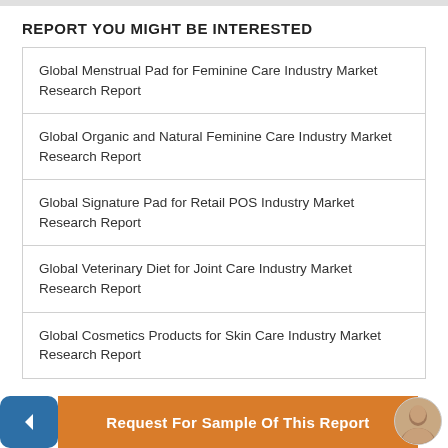REPORT YOU MIGHT BE INTERESTED
Global Menstrual Pad for Feminine Care Industry Market Research Report
Global Organic and Natural Feminine Care Industry Market Research Report
Global Signature Pad for Retail POS Industry Market Research Report
Global Veterinary Diet for Joint Care Industry Market Research Report
Global Cosmetics Products for Skin Care Industry Market Research Report
Request For Sample Of This Report